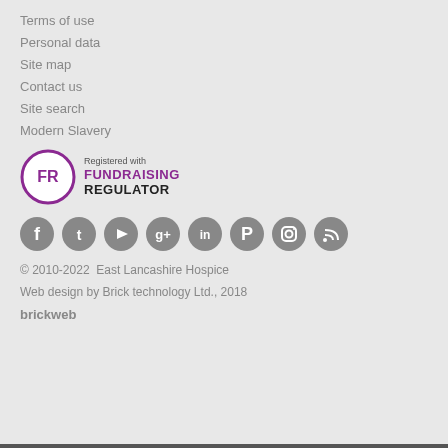Terms of use
Personal data
Site map
Contact us
Site search
Modern Slavery
[Figure (logo): Registered with Fundraising Regulator badge: purple circle with FR letters, text 'Registered with FUNDRAISING REGULATOR']
[Figure (other): Row of 8 grey social media icon circles: Facebook, Twitter, YouTube, Google+, LinkedIn, Pinterest, Instagram, RSS]
© 2010-2022  East Lancashire Hospice
Web design by Brick technology Ltd., 2018
brickweb